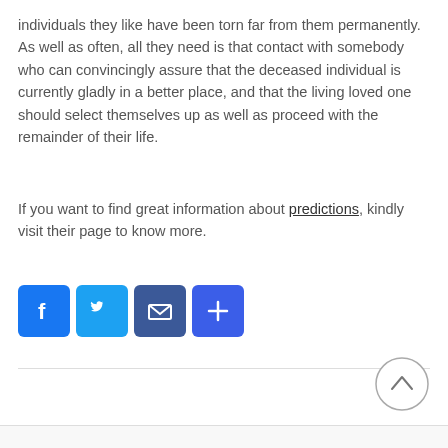individuals they like have been torn far from them permanently. As well as often, all they need is that contact with somebody who can convincingly assure that the deceased individual is currently gladly in a better place, and that the living loved one should select themselves up as well as proceed with the remainder of their life.
If you want to find great information about predictions, kindly visit their page to know more.
[Figure (other): Social sharing buttons: Facebook (blue), Twitter (light blue), Email (dark blue), Share/Plus (blue)]
[Figure (other): Scroll-to-top button: circle with upward chevron arrow]